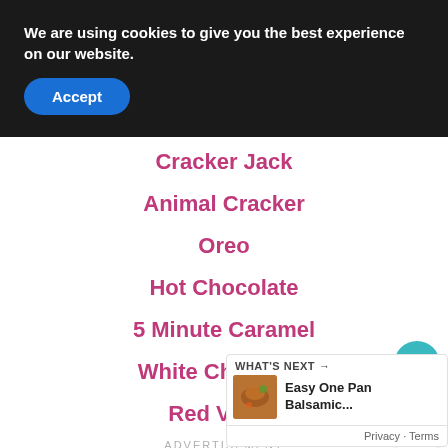We are using cookies to give you the best experience on our website.
Accept
Cracker Jack
Animal Cracker
Oreo
Hot Chocolate
5 Minute Caramel
White Chocolate
Red Velvet
ADVERTISEMENT
1
WHAT'S NEXT → Easy One Pan Balsamic...
Privacy · Terms